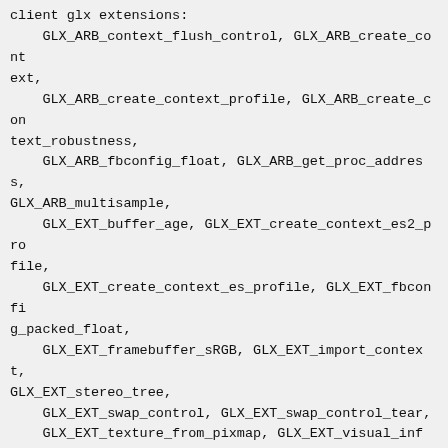client glx extensions:
    GLX_ARB_context_flush_control, GLX_ARB_create_context,
    GLX_ARB_create_context_profile, GLX_ARB_create_context_robustness,
    GLX_ARB_fbconfig_float, GLX_ARB_get_proc_address, GLX_ARB_multisample,
    GLX_EXT_buffer_age, GLX_EXT_create_context_es2_profile,
    GLX_EXT_create_context_es_profile, GLX_EXT_fbconfig_packed_float,
    GLX_EXT_framebuffer_sRGB, GLX_EXT_import_context, GLX_EXT_stereo_tree,
    GLX_EXT_swap_control, GLX_EXT_swap_control_tear,
    GLX_EXT_texture_from_pixmap, GLX_EXT_visual_info, GLX_EXT_visual_rating,
    GLX_NV_copy_buffer, GLX_NV_copy_image, GLX_NV_delay_before_swap,
    GLX_NV_float_buffer, GLX_NV_multisample_coverage, GLX_NV_present_video,
    GLX_NV_swap_group, GLX_NV_video_capture, GLX_NV_video_out,
    GLX_SGIX_fbconfig, GLX_SGIX_pbuffer, GLX_SGI_swap_control,